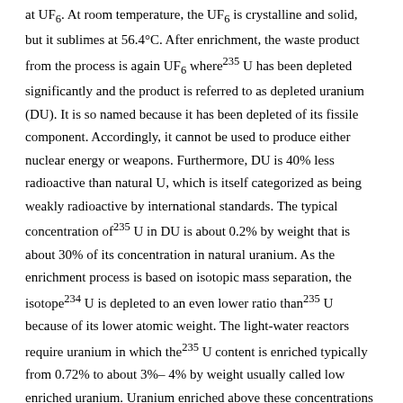at UF6. At room temperature, the UF6 is crystalline and solid, but it sublimes at 56.4°C. After enrichment, the waste product from the process is again UF6 where 235U has been depleted significantly and the product is referred to as depleted uranium (DU). It is so named because it has been depleted of its fissile component. Accordingly, it cannot be used to produce either nuclear energy or weapons. Furthermore, DU is 40% less radioactive than natural U, which is itself categorized as being weakly radioactive by international standards. The typical concentration of 235U in DU is about 0.2% by weight that is about 30% of its concentration in natural uranium. As the enrichment process is based on isotopic mass separation, the isotope 234U is depleted to an even lower ratio than 235U because of its lower atomic weight. The light-water reactors require uranium in which the 235U content is enriched typically from 0.72% to about 3%–4% by weight usually called low enriched uranium. Uranium enriched above these concentrations is called highly enriched uranium and commonly used in strategic applications. The DU contains isotopes in typical composition of 99.8% 238U, 0.2% 235U, and 0.0006% 234U. For the same mass, the DU has about 60% of the radioactivity of natural uranium (~14,800 Bq/g of DU).